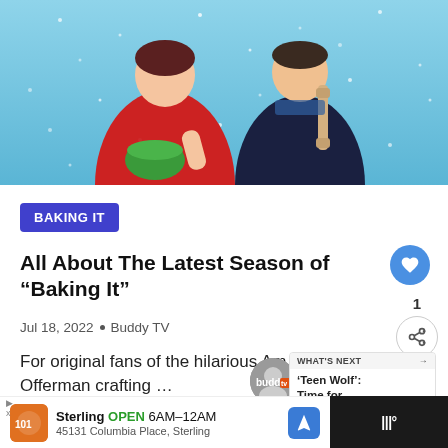[Figure (photo): Two people standing against a snowy blue background. Left person wears a red floral dress and holds a green mixing bowl. Right person wears a dark navy sweater and holds a rolling pin.]
BAKING IT
All About The Latest Season of "Baking It"
Jul 18, 2022  •  Buddy TV
For original fans of the hilarious Am... and Nick Offerman crafting …
WHAT'S NEXT → 'Teen Wolf': Time for...
Sterling  OPEN  6AM–12AM  45131 Columbia Place, Sterling